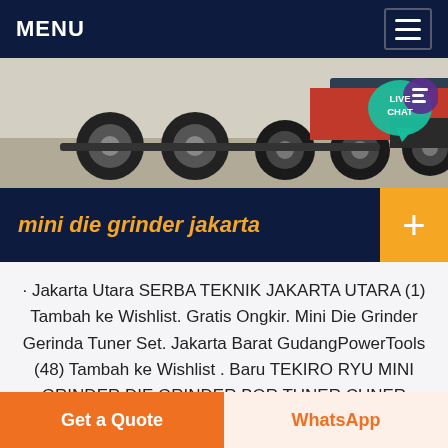MENU
[Figure (photo): Truck wheels and undercarriage viewed from ground level, with a LIVE CHAT bubble overlay in top-right corner]
mini die grinder jakarta
· Jakarta Utara SERBA TEKNIK JAKARTA UTARA (1) Tambah ke Wishlist. Gratis Ongkir. Mini Die Grinder Gerinda Tuner Set. Jakarta Barat GudangPowerTools (48) Tambah ke Wishlist . Baru TEKIRO RYU MINI GRINDER DIE GRINDER BOR TUNER CUNER GERINDA MINI. Jakarta Selatan ANDY MUHAMMAD (1) Tambah ke Wishlist. Cashback. BENZ Mini Die.
Get a Quote
WhatsApp